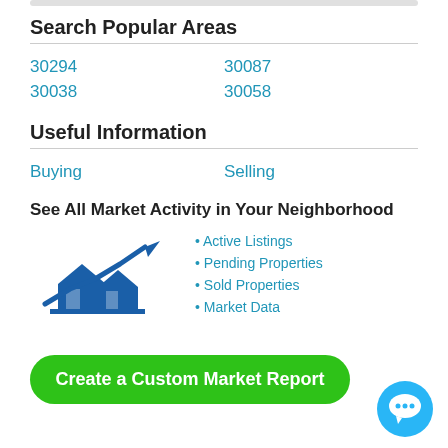Search Popular Areas
30294
30087
30038
30058
Useful Information
Buying
Selling
See All Market Activity in Your Neighborhood
[Figure (illustration): Blue icon of two houses with an upward trending arrow chart above them, representing real estate market activity]
• Active Listings
• Pending Properties
• Sold Properties
• Market Data
Create a Custom Market Report